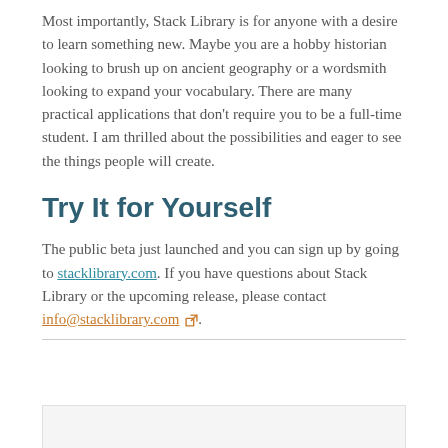Most importantly, Stack Library is for anyone with a desire to learn something new. Maybe you are a hobby historian looking to brush up on ancient geography or a wordsmith looking to expand your vocabulary. There are many practical applications that don't require you to be a full-time student. I am thrilled about the possibilities and eager to see the things people will create.
Try It for Yourself
The public beta just launched and you can sign up by going to stacklibrary.com. If you have questions about Stack Library or the upcoming release, please contact info@stacklibrary.com ↗.